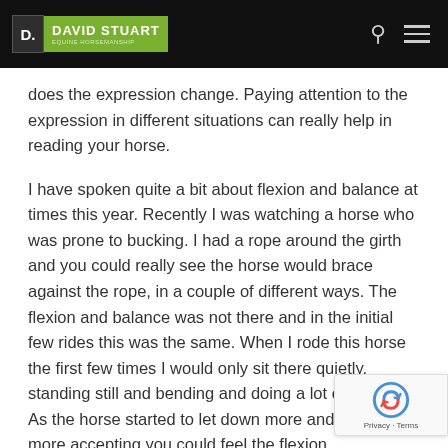DAVID STUART
does the expression change. Paying attention to the expression in different situations can really help in reading your horse.
I have spoken quite a bit about flexion and balance at times this year. Recently I was watching a horse who was prone to bucking. I had a rope around the girth and you could really see the horse would brace against the rope, in a couple of different ways. The flexion and balance was not there and in the initial few rides this was the same. When I rode this horse the first few times I would only sit there quietly, standing still and bending and doing a lot of rubbing. As the horse started to let down more and become more accepting you could feel the flexion